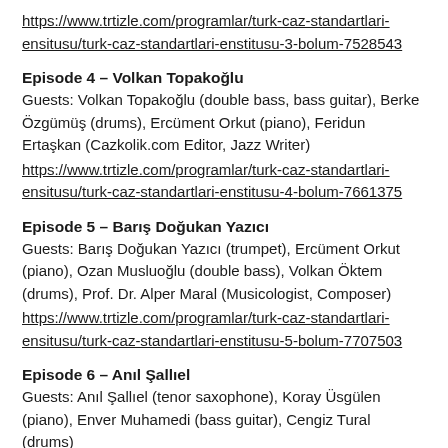https://www.trtizle.com/programlar/turk-caz-standartlari-ensitusu/turk-caz-standartlari-enstitusu-3-bolum-7528543
Episode 4 – Volkan Topakoğlu
Guests: Volkan Topakoğlu (double bass, bass guitar), Berke Özgümüş (drums), Ercüment Orkut (piano), Feridun Ertaşkan (Cazkolik.com Editor, Jazz Writer)
https://www.trtizle.com/programlar/turk-caz-standartlari-ensitusu/turk-caz-standartlari-enstitusu-4-bolum-7661375
Episode 5 – Barış Doğukan Yazıcı
Guests: Barış Doğukan Yazıcı (trumpet), Ercüment Orkut (piano), Ozan Musluoğlu (double bass), Volkan Öktem (drums), Prof. Dr. Alper Maral (Musicologist, Composer)
https://www.trtizle.com/programlar/turk-caz-standartlari-ensitusu/turk-caz-standartlari-enstitusu-5-bolum-7707503
Episode 6 – Anıl Şallıel
Guests: Anıl Şallıel (tenor saxophone), Koray Üsgülen (piano), Enver Muhamedi (bass guitar), Cengiz Tural (drums)